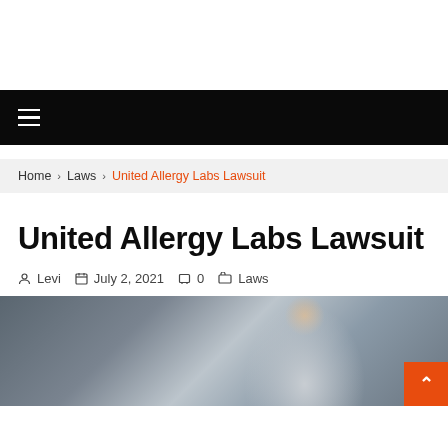☰ (navigation menu bar)
Home > Laws > United Allergy Labs Lawsuit
United Allergy Labs Lawsuit
Levi   July 2, 2021   0   Laws
[Figure (photo): Person in a white shirt and dark tie seated at a desk, likely a lawyer or professional, with blurred background]